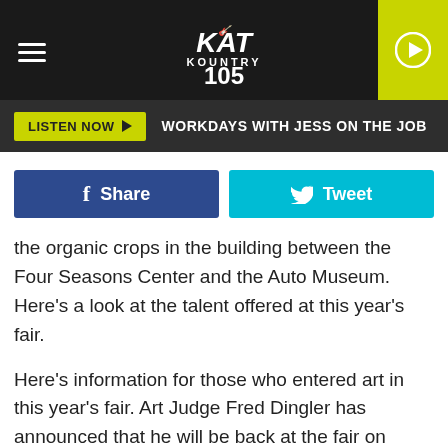KAT Kountry 105 — LISTEN NOW ▶ WORKDAYS WITH JESS ON THE JOB
[Figure (screenshot): Facebook Share and Twitter Tweet social sharing buttons]
the organic crops in the building between the Four Seasons Center and the Auto Museum. Here's a look at the talent offered at this year's fair.
Here's information for those who entered art in this year's fair. Art Judge Fred Dingler has announced that he will be back at the fair on Friday night from 7-8:30PM. He'll meet with any of the artists and discuss their work and how he arrived at his decision. This was just offered a few days ago by Dingler, so if you know anyone who is showing art at the fair, pass this information along.